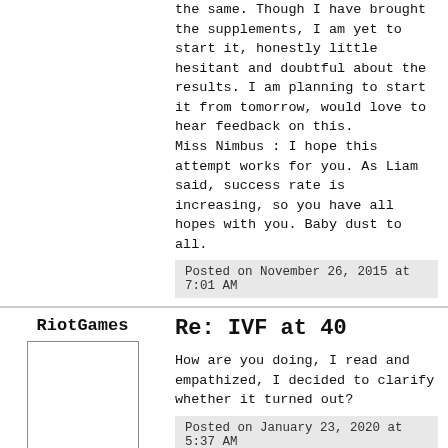the same. Though I have brought the supplements, I am yet to start it, honestly little hesitant and doubtful about the results. I am planning to start it from tomorrow, would love to hear feedback on this.
Miss Nimbus : I hope this attempt works for you. As Liam said, success rate is increasing, so you have all hopes with you. Baby dust to all.
Posted on November 26, 2015 at 7:01 AM
RiotGames
Re: IVF at 40
How are you doing, I read and empathized, I decided to clarify whether it turned out?
Posted on January 23, 2020 at 5:37 AM
Total Posts: 1
Joined:
January 23,
2020